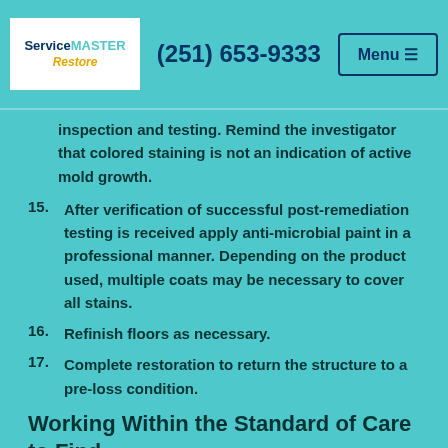(251) 653-9333 | ServiceMaster Restore | Menu
inspection and testing. Remind the investigator that colored staining is not an indication of active mold growth.
15. After verification of successful post-remediation testing is received apply anti-microbial paint in a professional manner. Depending on the product used, multiple coats may be necessary to cover all stains.
16. Refinish floors as necessary.
17. Complete restoration to return the structure to a pre-loss condition.
Working Within the Standard of Care to Find Cost-Effective Solutions